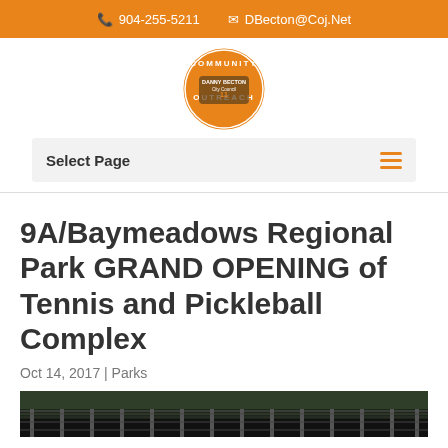☎ 904-255-5211  ✉ DBecton@Coj.Net
[Figure (logo): Community Outreach Danny Becton circular logo with orange border]
Select Page
9A/Baymeadows Regional Park GRAND OPENING of Tennis and Pickleball Complex
Oct 14, 2017  |  Parks
[Figure (photo): Outdoor tennis/pickleball court complex with dark fencing, trees in background]